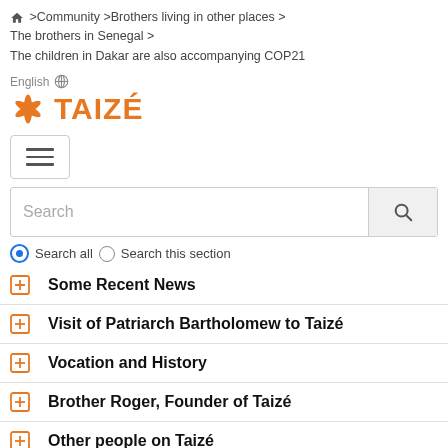🏠 >Community >Brothers living in other places > The brothers in Senegal > The children in Dakar are also accompanying COP21
English 🌐
[Figure (logo): Taizé logo: orange star/cross symbol and bold orange text TAIZÉ]
[Figure (other): Hamburger menu button with three horizontal bars]
Search
🔵 Search all ○ Search this section
Some Recent News
Visit of Patriarch Bartholomew to Taizé
Vocation and History
Brother Roger, Founder of Taizé
Other people on Taizé